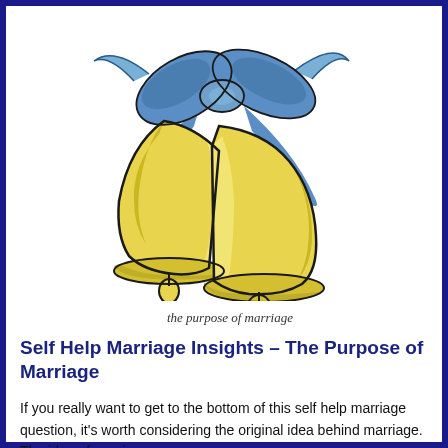[Figure (illustration): Two golden wedding bells tied together with a blue ribbon bow, illustrated in a cartoon/clip-art style.]
the purpose of marriage
Self Help Marriage Insights – The Purpose of Marriage
If you really want to get to the bottom of this self help marriage question, it's worth considering the original idea behind marriage. The idea of marriage